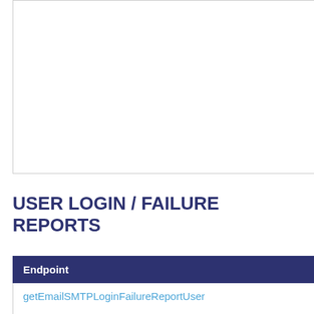and this information has come back to via one our fee back lo
USER LOGIN / FAILURE REPORTS
| Endpoint | Description |
| --- | --- |
| getEmailSMTPLoginFailureReportUser | This report allows to see all |